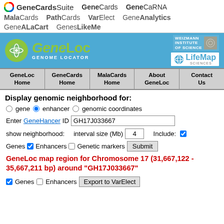GeneCardsSuite   GeneCards   GeneCaRNA   MalaCards   PathCards   VarElect   GeneAnalytics   GeneALaCart   GenesLikeMe
[Figure (screenshot): GeneLoc Genome Locator banner with Weizmann Institute of Science and LifeMap Sciences logos]
GeneLoc Home | GeneCards Home | MalaCards Home | About GeneLoc | Contact Us
Display genomic neighborhood for:
○ gene ● enhancer ○ genomic coordinates
Enter GeneHancer ID   GH17J033667
show neighborhood:   interval size (Mb)   4   Include: ☑
Genes ☑ Enhancers ☐ Genetic markers   Submit
GeneLoc map region for Chromosome 17 (31,667,122 - 35,667,211 bp) around "GH17J033667"
☑ Genes ☐ Enhancers   Export to VarElect